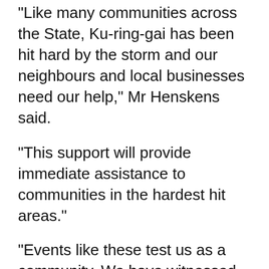“Like many communities across the State, Ku-ring-gai has been hit hard by the storm and our neighbours and local businesses need our help,” Mr Henskens said.
“This support will provide immediate assistance to communities in the hardest hit areas.”
“Events like these test us as a community. We have witnessed an extraordinary level of hard work and dedication from our emergency services and volunteers and for this we say thank you.”
Mr Henskens said this was the first tranche of natural disaster declarations